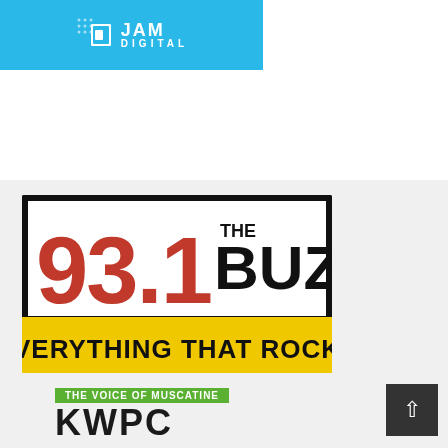[Figure (logo): JAM Digital logo on a light blue background banner]
[Figure (logo): 93.1 The Buzz - Everything That Rocks radio station logo with black border, red 93.1 text, black THE BUZZ text, yellow EVERYTHING THAT ROCKS banner]
[Figure (logo): The Voice of Muscatine KWPC radio station logo with green top banner and large black KWPC lettering]